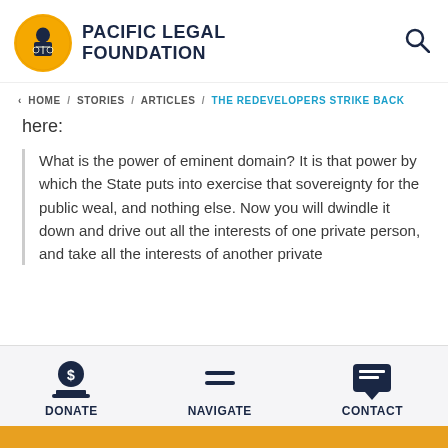[Figure (logo): Pacific Legal Foundation logo: circular yellow badge with figure holding scales of justice, beside bold dark navy text 'PACIFIC LEGAL FOUNDATION']
< HOME / STORIES / ARTICLES / THE REDEVELOPERS STRIKE BACK
here:
What is the power of eminent domain? It is that power by which the State puts into exercise that sovereignty for the public weal, and nothing else. Now you will dwindle it down and drive out all the interests of one private person, and take all the interests of another private
DONATE   NAVIGATE   CONTACT